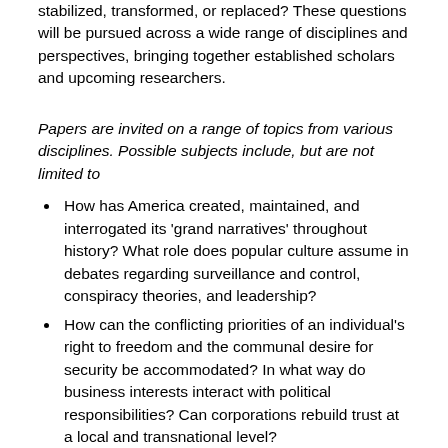stabilized, transformed, or replaced? These questions will be pursued across a wide range of disciplines and perspectives, bringing together established scholars and upcoming researchers.
Papers are invited on a range of topics from various disciplines. Possible subjects include, but are not limited to
How has America created, maintained, and interrogated its 'grand narratives' throughout history? What role does popular culture assume in debates regarding surveillance and control, conspiracy theories, and leadership?
How can the conflicting priorities of an individual's right to freedom and the communal desire for security be accommodated? In what way do business interests interact with political responsibilities? Can corporations rebuild trust at a local and transnational level?